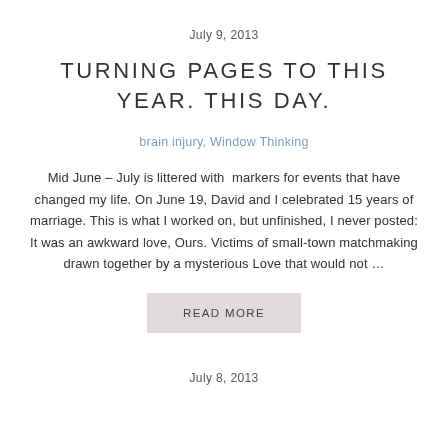July 9, 2013
TURNING PAGES TO THIS YEAR. THIS DAY.
brain injury, Window Thinking
Mid June – July is littered with  markers for events that have changed my life. On June 19, David and I celebrated 15 years of marriage. This is what I worked on, but unfinished, I never posted: It was an awkward love, Ours. Victims of small-town matchmaking drawn together by a mysterious Love that would not …
READ MORE
July 8, 2013